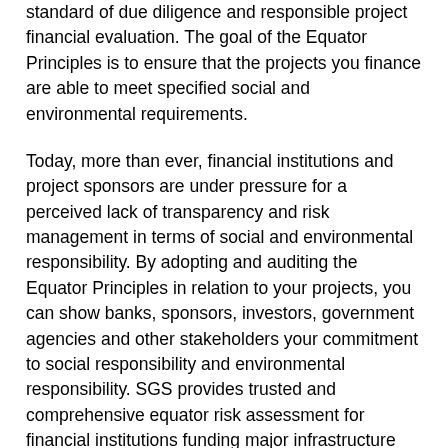standard of due diligence and responsible project financial evaluation. The goal of the Equator Principles is to ensure that the projects you finance are able to meet specified social and environmental requirements.
Today, more than ever, financial institutions and project sponsors are under pressure for a perceived lack of transparency and risk management in terms of social and environmental responsibility. By adopting and auditing the Equator Principles in relation to your projects, you can show banks, sponsors, investors, government agencies and other stakeholders your commitment to social responsibility and environmental responsibility. SGS provides trusted and comprehensive equator risk assessment for financial institutions funding major infrastructure and industrial project worldwide.
SGS is the trusted leader in environmental and social responsibility. We combine our understanding of project